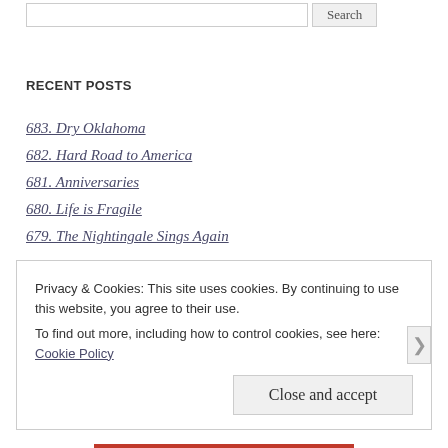RECENT POSTS
683. Dry Oklahoma
682. Hard Road to America
681. Anniversaries
680. Life is Fragile
679. The Nightingale Sings Again
Privacy & Cookies: This site uses cookies. By continuing to use this website, you agree to their use.
To find out more, including how to control cookies, see here: Cookie Policy
Close and accept